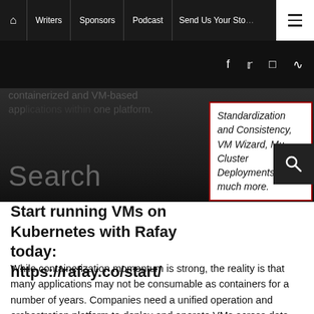Writers | Sponsors | Podcast | Send Us Your Story
containerized and VM-based applications within one platform.
Standardization and Consistency, VM Wizard, Multi-Cluster Deployments, and much more.
Start running VMs on Kubernetes with Rafay today: https://rafay.co/start/
While containerization momentum is strong, the reality is that many applications may not be consumable as containers for a number of years. Companies need a unified operation and orchestration platform to deploy and operate VMs across data